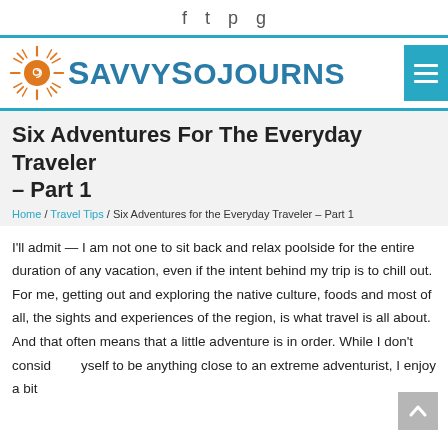Social icons: Facebook, Twitter, Pinterest, Instagram
[Figure (logo): SavvySojourns logo with orange sun icon and teal/blue text]
Six Adventures For The Everyday Traveler – Part 1
Home / Travel Tips / Six Adventures for the Everyday Traveler – Part 1
I'll admit — I am not one to sit back and relax poolside for the entire duration of any vacation, even if the intent behind my trip is to chill out. For me, getting out and exploring the native culture, foods and most of all, the sights and experiences of the region, is what travel is all about. And that often means that a little adventure is in order. While I don't consider myself to be anything close to an extreme adventurist, I enjoy a bit